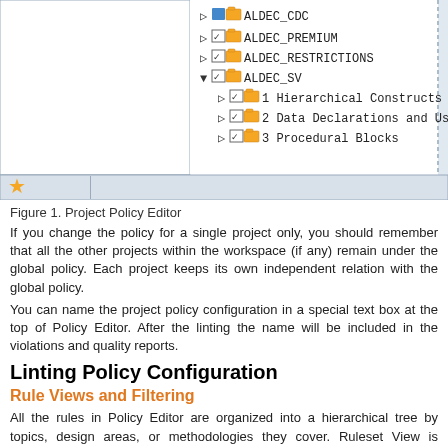[Figure (screenshot): Project Policy Editor screenshot showing a tree view with items: ALDEC_CDC, ALDEC_PREMIUM, ALDEC_RESTRICTIONS, ALDEC_SV (expanded with subitems: 1 Hierarchical Constructs, 2 Data Declarations and Uses, 3 Procedural Blocks). A star/favorites button appears at the bottom of the panel.]
Figure 1. Project Policy Editor
If you change the policy for a single project only, you should remember that all the other projects within the workspace (if any) remain under the global policy. Each project keeps its own independent relation with the global policy.
You can name the project policy configuration in a special text box at the top of Policy Editor. After the linting the name will be included in the violations and quality reports.
Linting Policy Configuration
Rule Views and Filtering
All the rules in Policy Editor are organized into a hierarchical tree by topics, design areas, or methodologies they cover. Ruleset View is displayed by default, and it groups the rules by topic-based classification within each rule plug-in.
[Figure (screenshot): Bottom bar showing Preferences label with icon]